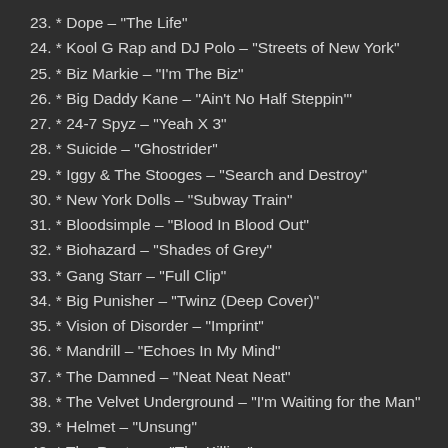23. * Dope – "The Life"
24. * Kool G Rap and DJ Polo – "Streets of New York"
25. * Biz Markie – "I'm The Biz"
26. * Big Daddy Kane – "Ain't No Half Steppin'"
27. * 24-7 Spyz – "Yeah X 3"
28. * Suicide – "Ghostrider"
29. * Iggy & The Stooges – "Search and Destroy"
30. * New York Dolls – "Subway Train"
31. * Bloodsimple – "Blood In Blood Out"
32. * Biohazard – "Shades of Grey"
33. * Gang Starr – "Full Clip"
34. * Big Punisher – "Twinz (Deep Cover)"
35. * Vision of Disorder – "Imprint"
36. * Mandrill – "Echoes In My Mind"
37. * The Damned – "Neat Neat Neat"
38. * The Velvet Underground – "I'm Waiting for the Man"
39. * Helmet – "Unsung"
40. * The Rapture – "The Killing"